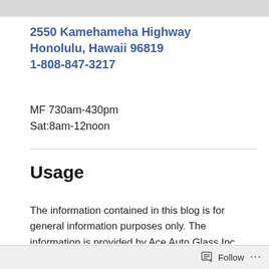2550 Kamehameha Highway
Honolulu, Hawaii 96819
1-808-847-3217
MF 730am-430pm
Sat:8am-12noon
Usage
The information contained in this blog is for general information purposes only. The information is provided by Ace Auto Glass Inc. and while we try to keep the information up to date and correct, we make no representations or warranties of any kind,
Follow ...